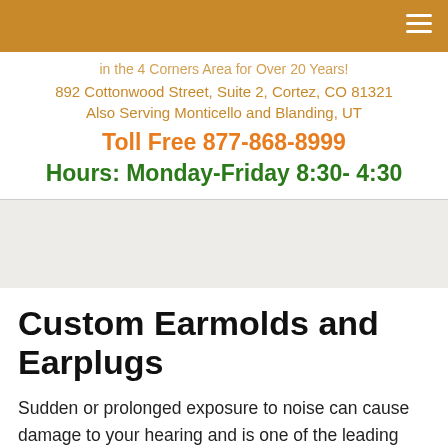in the 4 Corners Area for Over 20 Years!
892 Cottonwood Street, Suite 2, Cortez, CO 81321
Also Serving Monticello and Blanding, UT
Toll Free 877-868-8999
Hours: Monday-Friday 8:30- 4:30
Custom Earmolds and Earplugs
Sudden or prolonged exposure to noise can cause damage to your hearing and is one of the leading causes of hearing loss. Hearing loss from